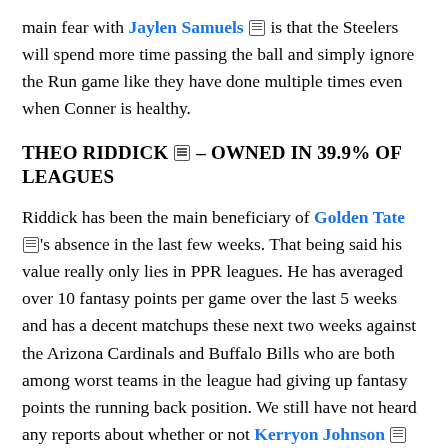main fear with Jaylen Samuels is that the Steelers will spend more time passing the ball and simply ignore the Run game like they have done multiple times even when Conner is healthy.
THEO RIDDICK – OWNED IN 39.9% OF LEAGUES
Riddick has been the main beneficiary of Golden Tate's absence in the last few weeks. That being said his value really only lies in PPR leagues. He has averaged over 10 fantasy points per game over the last 5 weeks and has a decent matchups these next two weeks against the Arizona Cardinals and Buffalo Bills who are both among worst teams in the league had giving up fantasy points the running back position. We still have not heard any reports about whether or not Kerryon Johnson will be back this week, but even if he is, figure on Riddick at least having a possible Flex worthy roll, especially in deeper PPR leagues.
RASHAAD PENNY – OWNED IN 21.5% OF